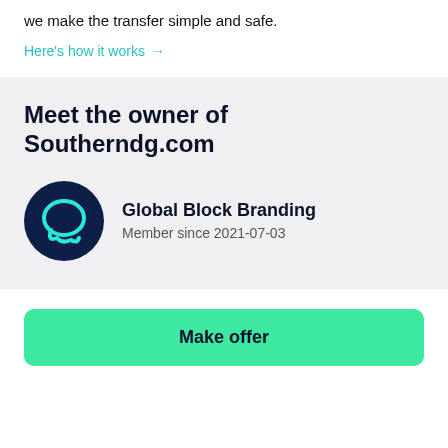we make the transfer simple and safe.
Here's how it works →
Meet the owner of Southerndg.com
[Figure (logo): Dark navy circular icon with a cyan speech bubble / chat icon inside]
Global Block Branding
Member since 2021-07-03
Make offer